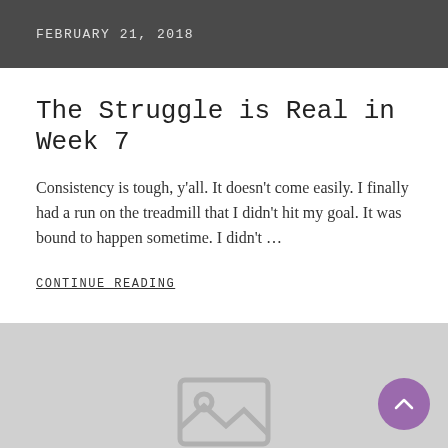FEBRUARY 21, 2018
The Struggle is Real in Week 7
Consistency is tough, y'all. It doesn't come easily. I finally had a run on the treadmill that I didn't hit my goal. It was bound to happen sometime. I didn't …
CONTINUE READING
[Figure (other): Gray placeholder area with image placeholder icon at bottom center and a purple scroll-to-top button in bottom right corner]